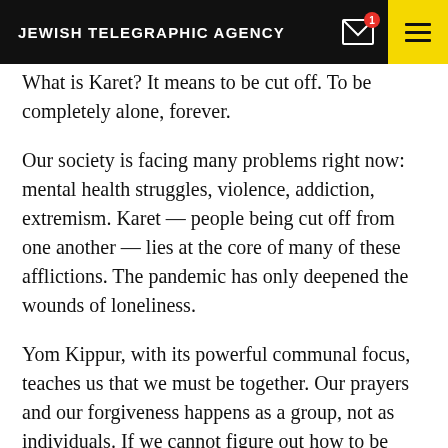JEWISH TELEGRAPHIC AGENCY
What is Karet? It means to be cut off. To be completely alone, forever.
Our society is facing many problems right now: mental health struggles, violence, addiction, extremism. Karet — people being cut off from one another — lies at the core of many of these afflictions. The pandemic has only deepened the wounds of loneliness.
Yom Kippur, with its powerful communal focus, teaches us that we must be together. Our prayers and our forgiveness happens as a group, not as individuals. If we cannot figure out how to be together, all will be ruined. If we can be together, we can be redeemed.